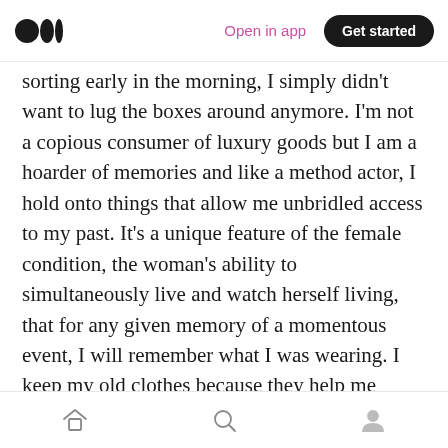Medium logo | Open in app | Get started
sorting early in the morning, I simply didn't want to lug the boxes around anymore. I'm not a copious consumer of luxury goods but I am a hoarder of memories and like a method actor, I hold onto things that allow me unbridled access to my past. It's a unique feature of the female condition, the woman's ability to simultaneously live and watch herself living, that for any given memory of a momentous event, I will remember what I was wearing. I keep my old clothes because they help me remember what happened.
Old clothes used to make me feel secure. as
Home | Search | Profile